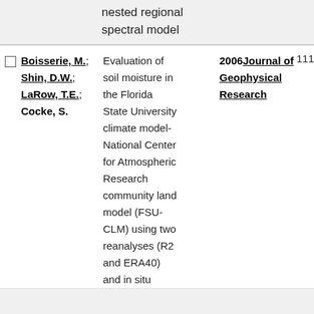nested regional spectral model
Boisserie, M.; Shin, D.W.; LaRow, T.E.; Cocke, S. | Evaluation of soil moisture in the Florida State University climate model-National Center for Atmospheric Research community land model (FSU-CLM) using two reanalyses (R2 and ERA40) and in situ | 2006 Journal of Geophysical Research | 111